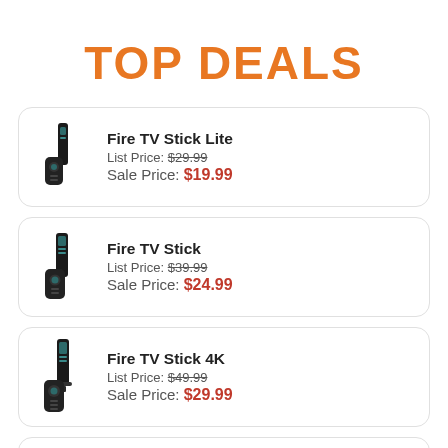TOP DEALS
Fire TV Stick Lite — List Price: $29.99, Sale Price: $19.99
Fire TV Stick — List Price: $39.99, Sale Price: $24.99
Fire TV Stick 4K — List Price: $49.99, Sale Price: $29.99
Fire TV Stick 4K Max